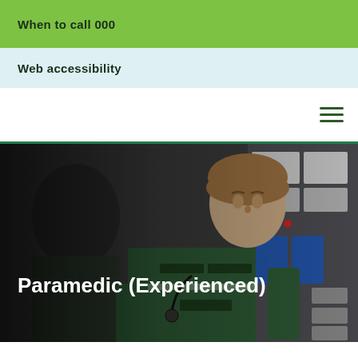When to call 000
Web accessibility
[Figure (photo): Two paramedics in green SA Ambulance uniforms working inside an ambulance with medical equipment visible. The female paramedic named Alice is in focus in the foreground.]
Paramedic (Experienced)